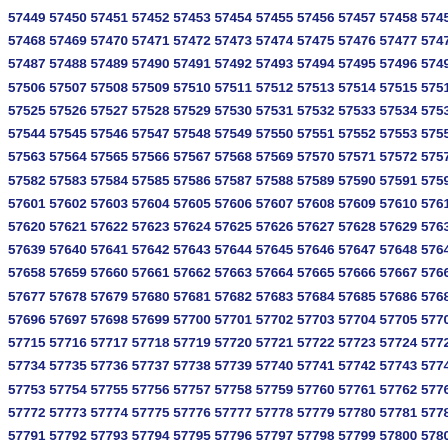57449 57450 57451 57452 57453 57454 57455 57456 57457 57458 57459 57460 57461 57462 57463 57464 57465 57466 57467
57468 57469 57470 57471 57472 57473 57474 57475 57476 57477 57478 57479 57480 57481 57482 57483 57484 57485 57486
57487 57488 57489 57490 57491 57492 57493 57494 57495 57496 57497 57498 57499 57500 57501 57502 57503 57504 57505
57506 57507 57508 57509 57510 57511 57512 57513 57514 57515 57516 57517 57518 57519 57520 57521 57522 57523 57524
57525 57526 57527 57528 57529 57530 57531 57532 57533 57534 57535 57536 57537 57538 57539 57540 57541 57542 57543
57544 57545 57546 57547 57548 57549 57550 57551 57552 57553 57554 57555 57556 57557 57558 57559 57560 57561 57562
57563 57564 57565 57566 57567 57568 57569 57570 57571 57572 57573 57574 57575 57576 57577 57578 57579 57580 57581
57582 57583 57584 57585 57586 57587 57588 57589 57590 57591 57592 57593 57594 57595 57596 57597 57598 57599 57600
57601 57602 57603 57604 57605 57606 57607 57608 57609 57610 57611 57612 57613 57614 57615 57616 57617 57618 57619
57620 57621 57622 57623 57624 57625 57626 57627 57628 57629 57630 57631 57632 57633 57634 57635 57636 57637 57638
57639 57640 57641 57642 57643 57644 57645 57646 57647 57648 57649 57650 57651 57652 57653 57654 57655 57656 57657
57658 57659 57660 57661 57662 57663 57664 57665 57666 57667 57668 57669 57670 57671 57672 57673 57674 57675 57676
57677 57678 57679 57680 57681 57682 57683 57684 57685 57686 57687 57688 57689 57690 57691 57692 57693 57694 57695
57696 57697 57698 57699 57700 57701 57702 57703 57704 57705 57706 57707 57708 57709 57710 57711 57712 57713 57714
57715 57716 57717 57718 57719 57720 57721 57722 57723 57724 57725 57726 57727 57728 57729 57730 57731 57732 57733
57734 57735 57736 57737 57738 57739 57740 57741 57742 57743 57744 57745 57746 57747 57748 57749 57750 57751 57752
57753 57754 57755 57756 57757 57758 57759 57760 57761 57762 57763 57764 57765 57766 57767 57768 57769 57770 57771
57772 57773 57774 57775 57776 57777 57778 57779 57780 57781 57782 57783 57784 57785 57786 57787 57788 57789 57790
57791 57792 57793 57794 57795 57796 57797 57798 57799 57800 57801 57802 57803 57804 57805 57806 57807 57808 57809
57810 57811 57812 57813 57814 57815 57816 57817 57818 57819 57820 57821 57822 57823 57824 57825 57826 57827 57828
57829 57830 57831 57832 57833 57834 57835 57836 57837 57838 57839 57840 57841 57842 57843 57844 57845 57846 57847
57848 57849 57850 57851 57852 57853 57854 57855 57856 57857 57858 57859 57860 57861 57862 57863 57864 57865 57866
57867 57868 57869 57870 57871 57872 57873 57874 57875 57876 57877 57878 57879 57880 57881 57882 57883 57884 57885